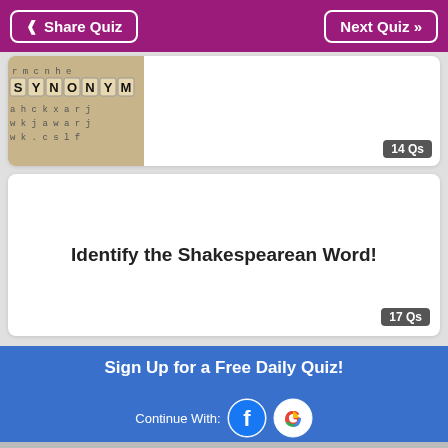< Share Quiz   Next Quiz »
[Figure (screenshot): Scrabble-tile letter blocks spelling SYNONYM on a word search background]
14 Qs
Identify the Shakespearean Word!
17 Qs
Sign Up for a Free Daily Quiz!
Enter Email Address
Join
Continue With:
By continuing, you agree to our T&C and Privacy Policy